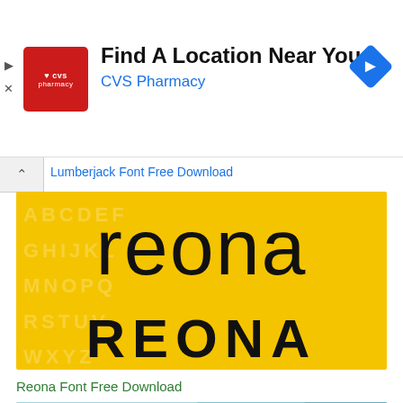[Figure (screenshot): CVS Pharmacy advertisement banner with logo, 'Find A Location Near You' heading, 'CVS Pharmacy' subtitle in blue, and navigation arrow icon in blue diamond shape.]
Lumberjack Font Free Download
[Figure (illustration): Yellow background font specimen showing 'reona' in lowercase and 'REONA' in uppercase with alphabet watermark in background. Font name is Reona.]
Reona Font Free Download
[Figure (screenshot): Partial view of another font specimen with blue/teal background showing partial yellow italic text starting with 'Courier' style letters, with green triangle corner scroll-to-top button.]